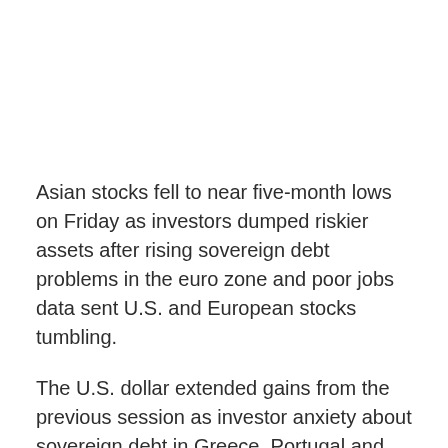Asian stocks fell to near five-month lows on Friday as investors dumped riskier assets after rising sovereign debt problems in the euro zone and poor jobs data sent U.S. and European stocks tumbling.
The U.S. dollar extended gains from the previous session as investor anxiety about sovereign debt in Greece, Portugal and Spain sparked a sell-off in the euro and growth-linked currencies such as